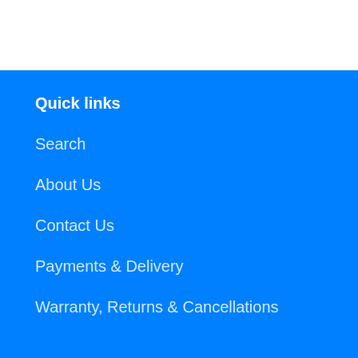Quick links
Search
About Us
Contact Us
Payments & Delivery
Warranty, Returns & Cancellations